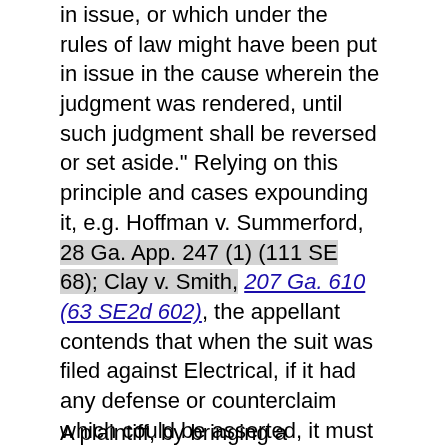in issue, or which under the rules of law might have been put in issue in the cause wherein the judgment was rendered, until such judgment shall be reversed or set aside." Relying on this principle and cases expounding it, e.g. Hoffman v. Summerford, 28 Ga. App. 247 (1) (111 SE 68); Clay v. Smith, 207 Ga. 610 (63 SE2d 602), the appellant contends that when the suit was filed against Electrical, if it had any defense or counterclaim which could be asserted, it must have asserted such defense or claim. When the present plaintiff failed to do so it is now bound by the judgment on demurrer dismissing the present defendant's suit.
A plaintiff, by bringing a